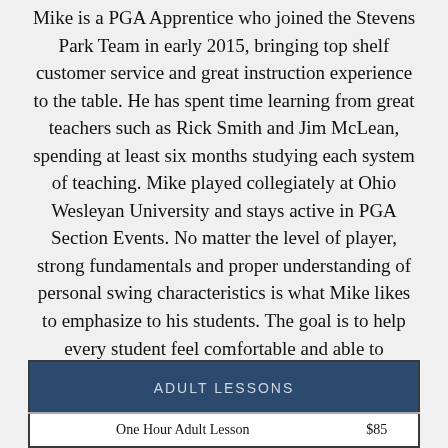Mike is a PGA Apprentice who joined the Stevens Park Team in early 2015, bringing top shelf customer service and great instruction experience to the table. He has spent time learning from great teachers such as Rick Smith and Jim McLean, spending at least six months studying each system of teaching. Mike played collegiately at Ohio Wesleyan University and stays active in PGA Section Events. No matter the level of player, strong fundamentals and proper understanding of personal swing characteristics is what Mike likes to emphasize to his students. The goal is to help every student feel comfortable and able to troubleshoot their own personal game.
| ADULT LESSONS |  |
| --- | --- |
| One Hour Adult Lesson | $85 |